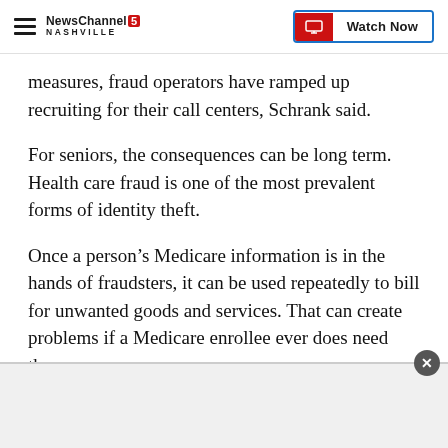NewsChannel5 NASHVILLE | Watch Now
measures, fraud operators have ramped up recruiting for their call centers, Schrank said.
For seniors, the consequences can be long term. Health care fraud is one of the most prevalent forms of identity theft.
Once a person’s Medicare information is in the hands of fraudsters, it can be used repeatedly to bill for unwanted goods and services. That can create problems if a Medicare enrollee ever does need them.
[Figure (other): Advertisement banner at the bottom of the page with a close (x) button]